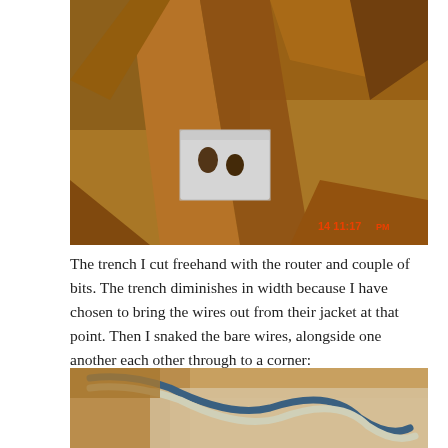[Figure (photo): Photograph of wooden pieces with a routed trench cut freehand, showing white material at a joint area with two holes. Timestamp '14 11:17PM' visible in red in lower right corner.]
The trench I cut freehand with the router and couple of bits. The trench diminishes in width because I have chosen to bring the wires out from their jacket at that point. Then I snaked the bare wires, alongside one another each other through to a corner:
[Figure (photo): Photograph showing wires (blue and white/cream colored) looped on a wooden surface, routed along the edge of a corner.]